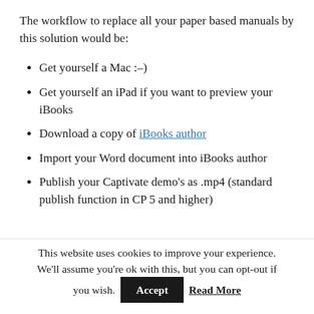The workflow to replace all your paper based manuals by this solution would be:
Get yourself a Mac :–)
Get yourself an iPad if you want to preview your iBooks
Download a copy of iBooks author
Import your Word document into iBooks author
Publish your Captivate demo's as .mp4 (standard publish function in CP 5 and higher)
This website uses cookies to improve your experience. We'll assume you're ok with this, but you can opt-out if you wish. Accept Read More